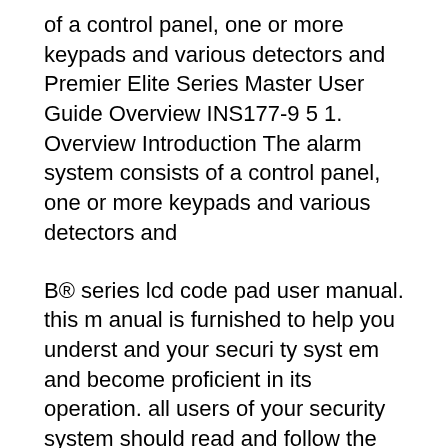of a control panel, one or more keypads and various detectors and Premier Elite Series Master User Guide Overview INS177-9 5 1. Overview Introduction The alarm system consists of a control panel, one or more keypads and various detectors and
B® series lcd code pad user manual. this m anual is furnished to help you underst and your securi ty syst em and become proficient in its operation. all users of your security system should read and follow the instructions and precautions in this bo oklet befo re oper ating you r securi ty contro l syst em. failure to do so could result in the